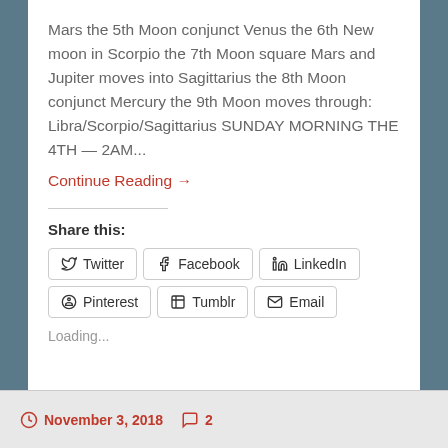Mars the 5th Moon conjunct Venus the 6th New moon in Scorpio the 7th Moon square Mars and Jupiter moves into Sagittarius the 8th Moon conjunct Mercury the 9th Moon moves through: Libra/Scorpio/Sagittarius SUNDAY MORNING THE 4TH — 2AM...
Continue Reading →
Share this:
Twitter  Facebook  LinkedIn  Pinterest  Tumblr  Email
Loading...
November 3, 2018  2